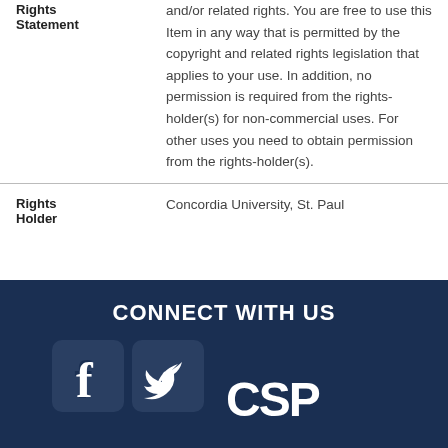| Field | Value |
| --- | --- |
| Rights Statement | and/or related rights. You are free to use this Item in any way that is permitted by the copyright and related rights legislation that applies to your use. In addition, no permission is required from the rights-holder(s) for non-commercial uses. For other uses you need to obtain permission from the rights-holder(s). |
| Rights Holder | Concordia University, St. Paul |
CONNECT WITH US
[Figure (logo): Facebook and Twitter social media icons (white rounded square icons) and CSP logo text in white on dark navy background]